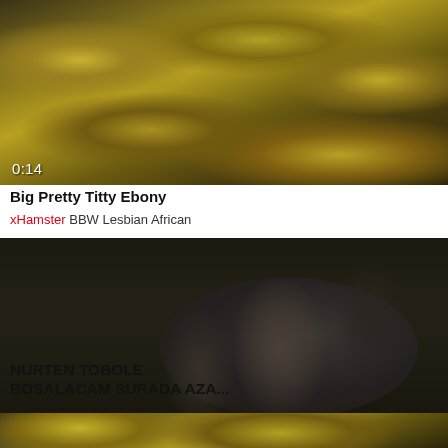[Figure (screenshot): Video thumbnail showing bananas in dark background with duration overlay 0:14]
Big Pretty Titty Ebony
xHamster BBW Lesbian African
[Figure (screenshot): Video thumbnail showing two people outdoors at night with duration overlay 7:13]
NURTEN TOBOLE BOSALACAM SURADA AZA...
[Figure (screenshot): Partial video thumbnail strip at bottom showing similar banana/yellow-green tones]